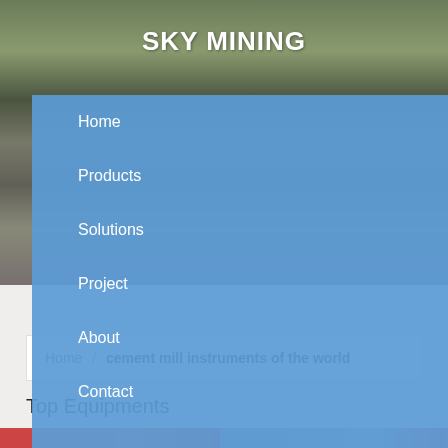[Figure (photo): Background photo of a mining facility with industrial structures, green trees and equipment visible]
SKY MINING
Home
Products
Solutions
Project
About
Contact
Home / cement mill instruments of the world
Top Equipments
[Figure (photo): Two partial product/equipment photos at the bottom of the page]